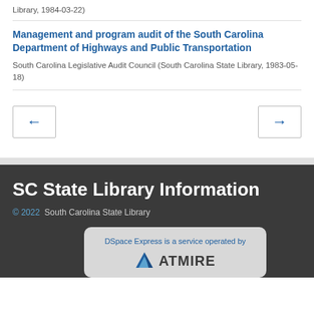Library, 1984-03-22)
Management and program audit of the South Carolina Department of Highways and Public Transportation
South Carolina Legislative Audit Council (South Carolina State Library, 1983-05-18)
[Figure (other): Navigation buttons: left arrow (previous) and right arrow (next)]
SC State Library Information
© 2022  South Carolina State Library
DSpace Express is a service operated by ATMIRE